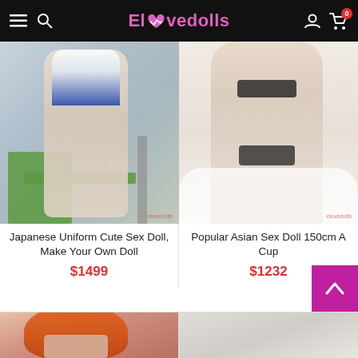Elovedolls
[Figure (photo): Product photo: figure in sailor-style school uniform seated at a green school desk, reading, legs visible, outdoor setting]
Japanese Uniform Cute Sex Doll, Make Your Own Doll
$1499
[Figure (photo): Product photo: figure in black bikini standing against white background with flowing white fabric]
Popular Asian Sex Doll 150cm A Cup
$1232
[Figure (photo): Partial product photo bottom left: figure with orange/red hair, cropped at top of frame]
[Figure (photo): Partial product photo bottom right: light background, cropped]